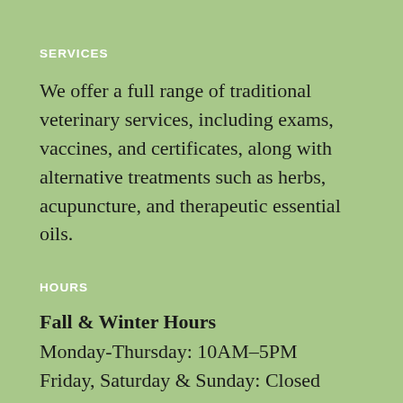SERVICES
We offer a full range of traditional veterinary services, including exams, vaccines, and certificates, along with alternative treatments such as herbs, acupuncture, and therapeutic essential oils.
HOURS
Fall & Winter Hours
Monday-Thursday: 10AM–5PM
Friday, Saturday & Sunday: Closed